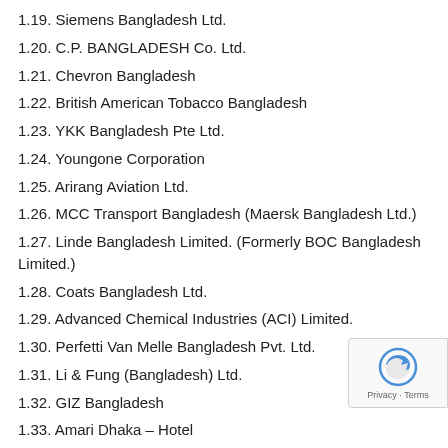1.19. Siemens Bangladesh Ltd.
1.20. C.P. BANGLADESH Co. Ltd.
1.21. Chevron Bangladesh
1.22. British American Tobacco Bangladesh
1.23. YKK Bangladesh Pte Ltd.
1.24. Youngone Corporation
1.25. Arirang Aviation Ltd.
1.26. MCC Transport Bangladesh (Maersk Bangladesh Ltd.)
1.27. Linde Bangladesh Limited. (Formerly BOC Bangladesh Limited.)
1.28. Coats Bangladesh Ltd.
1.29. Advanced Chemical Industries (ACI) Limited.
1.30. Perfetti Van Melle Bangladesh Pvt. Ltd.
1.31. Li & Fung (Bangladesh) Ltd.
1.32. GIZ Bangladesh
1.33. Amari Dhaka – Hotel
1.34. Ever Smart Bangladesh Ltd. – a member of Crysunden Group.